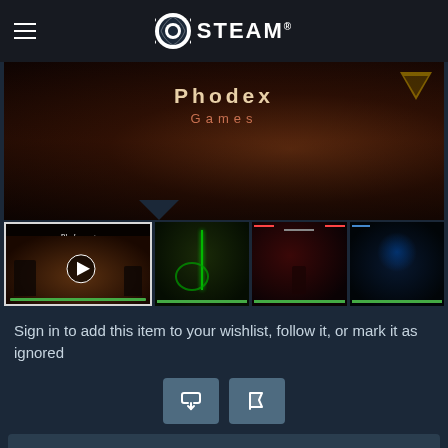STEAM
[Figure (screenshot): Phodex Games banner image — dark reddish game artwork with 'Phodex' in large text and 'Games' below it in orange]
[Figure (screenshot): Bladequest game thumbnail strip showing 4 screenshots including a video thumbnail with play button]
Sign in to add this item to your wishlist, follow it, or mark it as ignored
[Figure (infographic): Two action icon buttons: a share button and a flag/report button]
Buy Bladequest